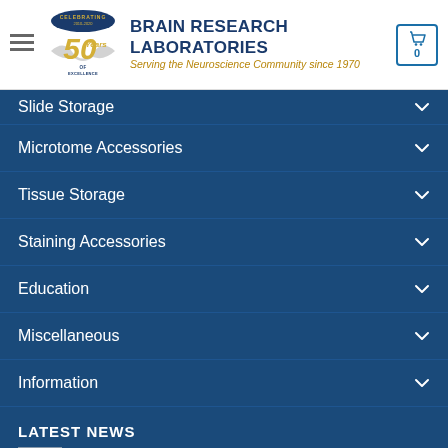[Figure (logo): Brain Research Laboratories logo with 50 Years of Excellence badge, company name and tagline 'Serving the Neuroscience Community since 1970']
Slide Storage
Microtome Accessories
Tissue Storage
Staining Accessories
Education
Miscellaneous
Information
LATEST NEWS
Vacation Notice 2022: July 4 – 8 and Aug 29 – Sept 5